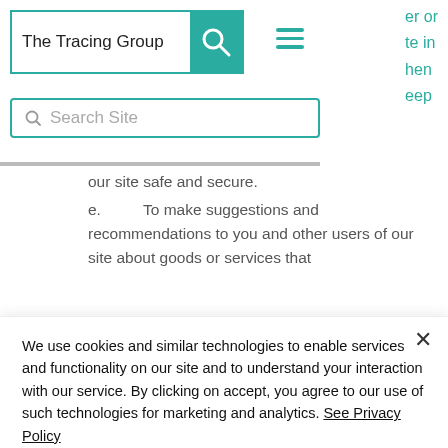[Figure (logo): The Tracing Group logo with teal search icon and hamburger menu]
er or
te in
hen
eep
[Figure (screenshot): Search Site input box with teal border and magnifier icon]
our site safe and secure.
e.  To make suggestions and recommendations to you and other users of our site about goods or services that
We use cookies and similar technologies to enable services and functionality on our site and to understand your interaction with our service. By clicking on accept, you agree to our use of such technologies for marketing and analytics. See Privacy Policy
Decline All
Accept
Cookie Settings